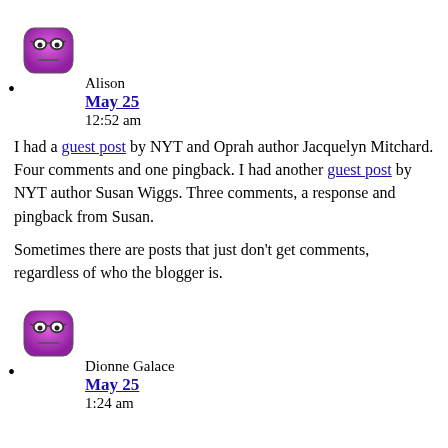[Figure (illustration): Purple cartoon avatar with glasses and a flat expression]
Alison
May 25
12:52 am
I had a guest post by NYT and Oprah author Jacquelyn Mitchard. Four comments and one pingback. I had another guest post by NYT author Susan Wiggs. Three comments, a response and pingback from Susan.

Sometimes there are posts that just don't get comments, regardless of who the blogger is.
[Figure (illustration): Purple cartoon avatar with glasses and a flat expression]
Dionne Galace
May 25
1:24 am